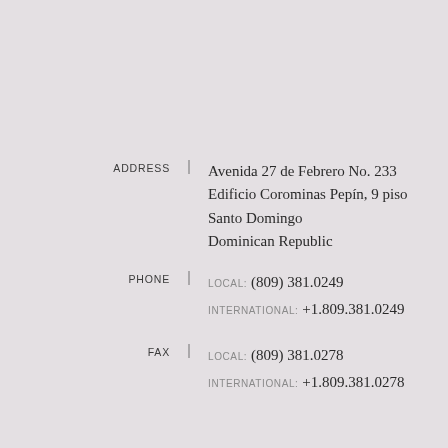ADDRESS: Avenida 27 de Febrero No. 233 Edificio Corominas Pepín, 9 piso Santo Domingo Dominican Republic
PHONE LOCAL: (809) 381.0249 INTERNATIONAL: +1.809.381.0249
FAX LOCAL: (809) 381.0278 INTERNATIONAL: +1.809.381.0278